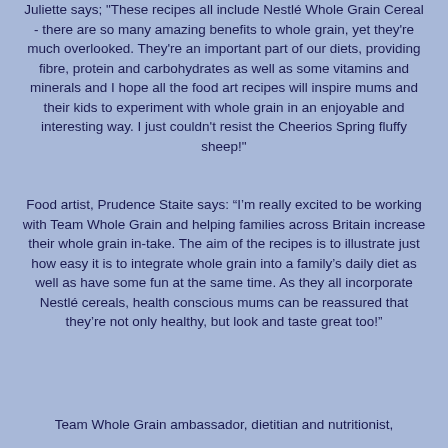Juliette says; "These recipes all include Nestlé Whole Grain Cereal - there are so many amazing benefits to whole grain, yet they're much overlooked. They're an important part of our diets, providing fibre, protein and carbohydrates as well as some vitamins and minerals and I hope all the food art recipes will inspire mums and their kids to experiment with whole grain in an enjoyable and interesting way. I just couldn't resist the Cheerios Spring fluffy sheep!"
Food artist, Prudence Staite says: “I’m really excited to be working with Team Whole Grain and helping families across Britain increase their whole grain in-take. The aim of the recipes is to illustrate just how easy it is to integrate whole grain into a family’s daily diet as well as have some fun at the same time. As they all incorporate Nestlé cereals, health conscious mums can be reassured that they’re not only healthy, but look and taste great too!”
Team Whole Grain ambassador, dietitian and nutritionist,